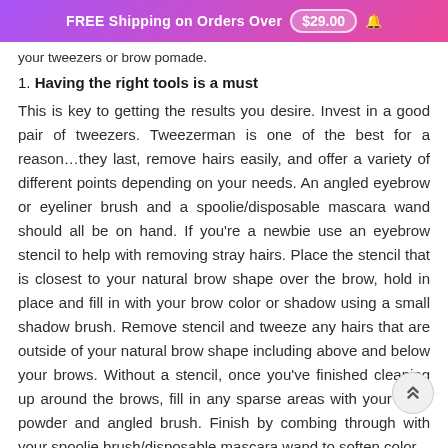FREE Shipping on Orders Over $29.00
your tweezers or brow pomade.
1. Having the right tools is a must
This is key to getting the results you desire. Invest in a good pair of tweezers. Tweezerman is one of the best for a reason…they last, remove hairs easily, and offer a variety of different points depending on your needs. An angled eyebrow or eyeliner brush and a spoolie/disposable mascara wand should all be on hand. If you're a newbie use an eyebrow stencil to help with removing stray hairs. Place the stencil that is closest to your natural brow shape over the brow, hold in place and fill in with your brow color or shadow using a small shadow brush. Remove stencil and tweeze any hairs that are outside of your natural brow shape including above and below your brows. Without a stencil, once you've finished cleaning up around the brows, fill in any sparse areas with your brow powder and angled brush. Finish by combing through with your spoolie brush/disposable mascara wand to soften color.
2. You have choices